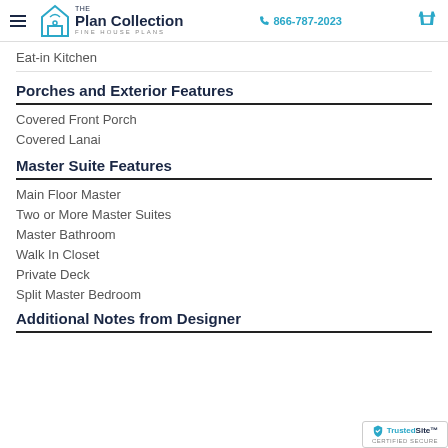The Plan Collection | FINE HOUSE PLANS | 866-787-2023
Eat-in Kitchen
Porches and Exterior Features
Covered Front Porch
Covered Lanai
Master Suite Features
Main Floor Master
Two or More Master Suites
Master Bathroom
Walk In Closet
Private Deck
Split Master Bedroom
Additional Notes from Designer